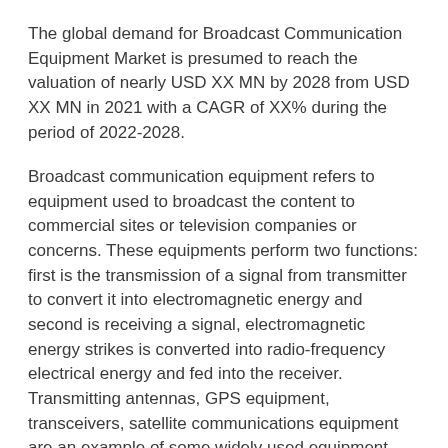The global demand for Broadcast Communication Equipment Market is presumed to reach the valuation of nearly USD XX MN by 2028 from USD XX MN in 2021 with a CAGR of XX% during the period of 2022-2028.
Broadcast communication equipment refers to equipment used to broadcast the content to commercial sites or television companies or concerns. These equipments perform two functions: first is the transmission of a signal from transmitter to convert it into electromagnetic energy and second is receiving a signal, electromagnetic energy strikes is converted into radio-frequency electrical energy and fed into the receiver. Transmitting antennas, GPS equipment, transceivers, satellite communications equipment are an example of some widely used equipment.
Market Dynamics